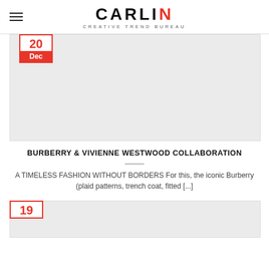CARLIN CREATIVE TREND BUREAU
[Figure (photo): Gray placeholder image for article about Burberry & Vivienne Westwood collaboration]
BURBERRY & VIVIENNE WESTWOOD COLLABORATION
A TIMELESS FASHION WITHOUT BORDERS For this, the iconic Burberry (plaid patterns, trench coat, fitted [...]
[Figure (photo): Gray placeholder image for second article, date badge showing 19]